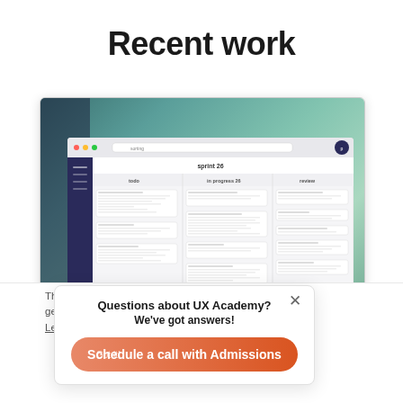Recent work
[Figure (screenshot): Screenshot of a UX Academy project management web app showing a sprint board (sprint 26) with kanban-style columns (todo, in progress, done) overlaid on a blurred teal/green background photo]
This website uses cookies to ensure you get the best experience on our website. Learn more
Questions about UX Academy?
We've got answers!
Got it!
Schedule a call with Admissions